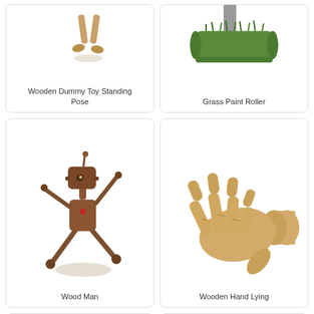[Figure (photo): Wooden dummy toy standing pose, partial view showing legs/feet from above]
Wooden Dummy Toy Standing Pose
[Figure (photo): Grass paint roller tool, partial view]
Grass Paint Roller
[Figure (photo): Wood man articulated wooden robot figure in a dancing/jumping pose with arms and legs spread out]
Wood Man
[Figure (photo): Wooden articulated hand model lying flat, fingers spread, with cylindrical wrist joint]
Wooden Hand Lying
[Figure (photo): Wooden hand model showing four fingers extended with thumb tucked, front view]
[Figure (photo): Wooden hand model showing four fingers extended with thumb tucked, slightly different angle]